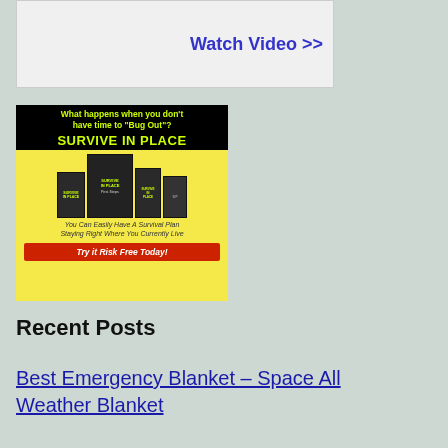[Figure (other): Watch Video >> link box with light background, blue bold text link]
[Figure (infographic): Survive In Place advertisement banner: black background top with yellow-green text 'What happens when you don't have time to Bug Out?', large text 'SURVIVE IN PLACE', book stack image on yellow background, italic text 'You Can Easily Have A Survival Plan Staying Right Where You Currently Live', red CTA button 'Try it Risk Free Today!']
Recent Posts
Best Emergency Blanket – Space All Weather Blanket